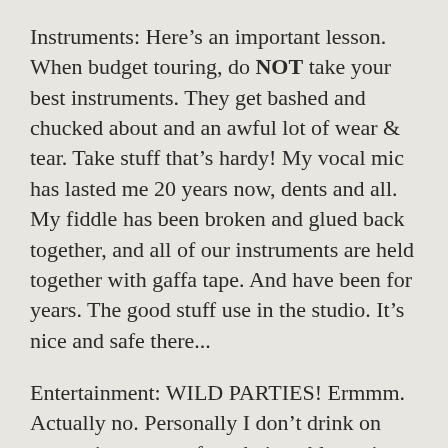Instruments: Here's an important lesson. When budget touring, do NOT take your best instruments. They get bashed and chucked about and an awful lot of wear & tear. Take stuff that's hardy! My vocal mic has lasted me 20 years now, dents and all. My fiddle has been broken and glued back together, and all of our instruments are held together with gaffa tape. And have been for years. The good stuff use in the studio. It's nice and safe there...
Entertainment: WILD PARTIES! Ermmm. Actually no. Personally I don't drink on tour as it stops me from being able to sing. The boys on the other hand, like a good blow out. It keeps them sane from having to hang out with me. Regular visits to the supermarkets to find the cheapest boxes of beer, cider, rum, wine, etc have to be fitted into the schedule, for sufficient